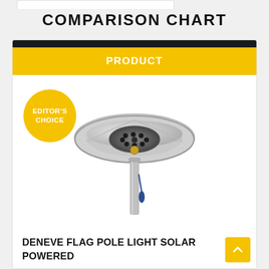COMPARISON CHART
[Figure (photo): Solar-powered flag pole light product photo with Editor's Choice badge overlay. The light is circular/disc-shaped with LED lights visible, mounted on a metal pole. A yellow 'EDITOR'S CHOICE' circular badge appears in the upper left of the product image area.]
DENEVE FLAG POLE LIGHT SOLAR POWERED